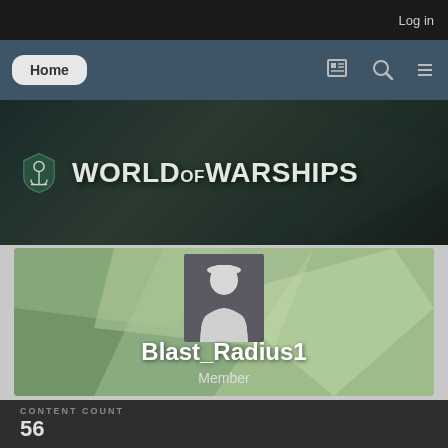Log in
Home
[Figure (screenshot): World of Warships logo banner with anchor shield icon and game title text on dark textured background]
[Figure (photo): User profile card for Blast_Radius1 showing avatar silhouette on green polygonal background with username and Member role]
Blast_Radius1
Member
CONTENT COUNT
56